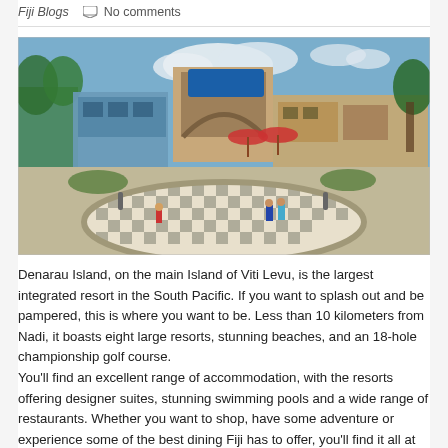Fiji Blogs    No comments
[Figure (photo): Outdoor shopping and resort complex at Denarau Island, Fiji. Shows a large decorative circular checkered paved courtyard in the foreground with children walking on it, a gated entrance archway with blue signage, tropical trees, and open-air shops/restaurants in the background under blue sky with clouds.]
Denarau Island, on the main Island of Viti Levu, is the largest integrated resort in the South Pacific. If you want to splash out and be pampered, this is where you want to be. Less than 10 kilometers from Nadi, it boasts eight large resorts, stunning beaches, and an 18-hole championship golf course. You'll find an excellent range of accommodation, with the resorts offering designer suites, stunning swimming pools and a wide range of restaurants. Whether you want to shop, have some adventure or experience some of the best dining Fiji has to offer, you'll find it all at Denarau Island. This place is